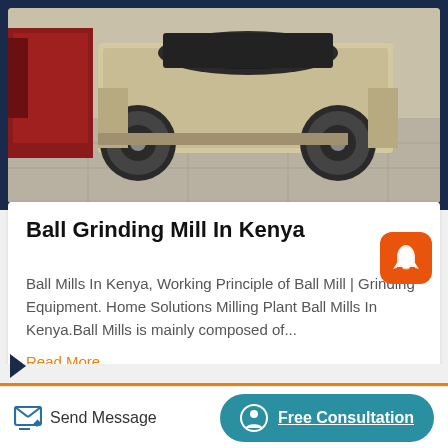[Figure (photo): Industrial ball grinding mill equipment shown on a concrete floor, beige/cream colored machinery with large wheels and roller components, red machinery visible in background left]
Ball Grinding Mill In Kenya
Ball Mills In Kenya, Working Principle of Ball Mill | Grinding Equipment. Home Solutions Milling Plant Ball Mills In Kenya.Ball Mills is mainly composed of...
Read More
[Figure (other): Orange rounded square button with white notification bell / rocket icon]
[Figure (other): Dark navy left-pointing arrow marker]
Send Message
Free Consultation